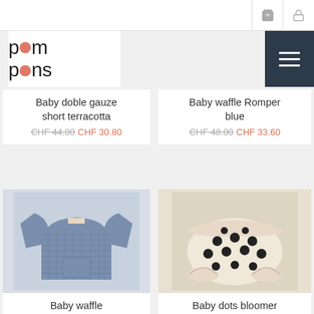pom pons - navigation bar with cart and lock icons
[Figure (logo): pom pons logo with salmon/terracotta colored circle replacing the letter O in both words]
[Figure (other): Hamburger menu button (dark navy background, three horizontal white lines)]
Baby doble gauze short terracotta CHF 44.00 CHF 30.80
Baby waffle Romper blue CHF 48.00 CHF 33.60
[Figure (photo): Blue waffle knit baby sweater with long sleeves and chest pocket]
Baby waffle
[Figure (photo): Cream/beige baby bloomers with large black polka dots pattern]
Baby dots bloomer